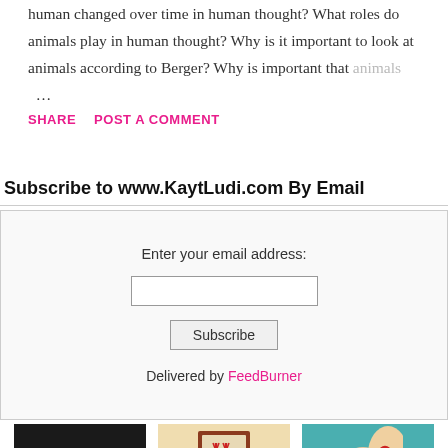human changed over time in human thought? What roles do animals play in human thought? Why is it important to look at animals according to Berger? Why is important that animals ...
SHARE   POST A COMMENT   READ MORE
Subscribe to www.KaytLudi.com By Email
Enter your email address:
[email input]
Subscribe
Delivered by FeedBurner
[Figure (photo): Three thumbnail images: laptop on dark background, framed artwork on beige background, illustrated book cover on teal background]